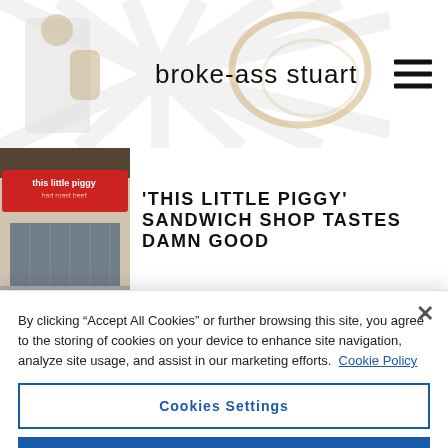broke-ass stuart
'THIS LITTLE PIGGY' SANDWICH SHOP TASTES DAMN GOOD
[Figure (photo): Storefront of 'This Little Piggy' sandwich shop with red sign reading 'this little piggy had roast beef']
By clicking “Accept All Cookies” or further browsing this site, you agree to the storing of cookies on your device to enhance site navigation, analyze site usage, and assist in our marketing efforts. Cookie Policy
Cookies Settings
Reject All
Accept All Cookies